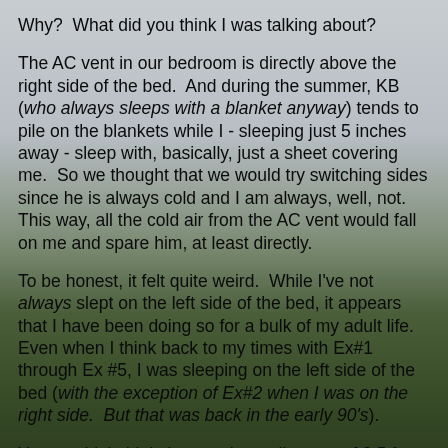Why?  What did you think I was talking about?
The AC vent in our bedroom is directly above the right side of the bed.  And during the summer, KB (who always sleeps with a blanket anyway) tends to pile on the blankets while I - sleeping just 5 inches away - sleep with, basically, just a sheet covering me.  So we thought that we would try switching sides since he is always cold and I am always, well, not.  This way, all the cold air from the AC vent would fall on me and spare him, at least directly.
To be honest, it felt quite weird.  While I've not always slept on the left side of the bed, it appears that I have been doing so for a bulk of my adult life.  Even when I think back to my times with Ex#1 through Ex #5, I was sleeping on the left side of the bed (with the exception of Ex#2 when I was on the right side.  But that was back in the early 90's).
You wouldn't think that moving a distance of 2.5 feet could cause such a stir to the psyche, but it did.  I had a hard time falling and staying asleep last night.  Perhaps my brain was